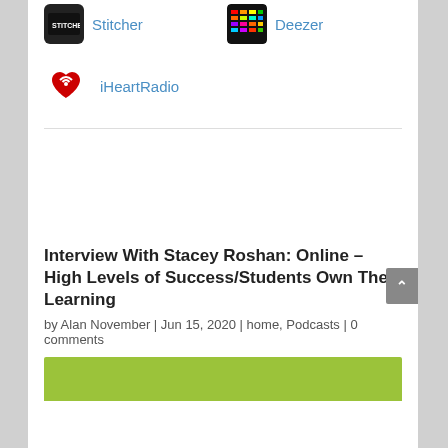[Figure (logo): Stitcher app icon (black square with logo) and Deezer app icon (colorful grid) shown side by side with blue text links]
[Figure (logo): iHeartRadio icon (red heart with radio waves) with blue text link]
Interview With Stacey Roshan: Online – High Levels of Success/Students Own Their Learning
by Alan November | Jun 15, 2020 | home, Podcasts | 0 comments
[Figure (photo): Green/lime colored bar at bottom of page, partial image]